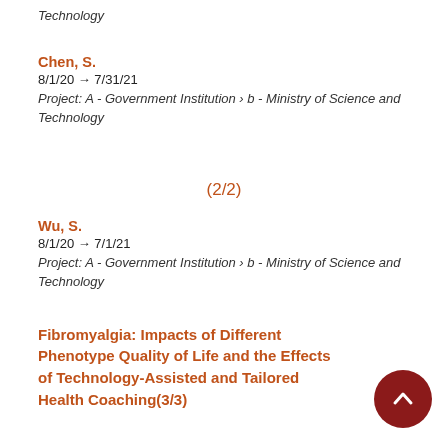Technology
Chen, S.
8/1/20 → 7/31/21
Project: A - Government Institution › b - Ministry of Science and Technology
(2/2)
Wu, S.
8/1/20 → 7/1/21
Project: A - Government Institution › b - Ministry of Science and Technology
Fibromyalgia: Impacts of Different Phenotype Quality of Life and the Effects of Technology-Assisted and Tailored Health Coaching(3/3)